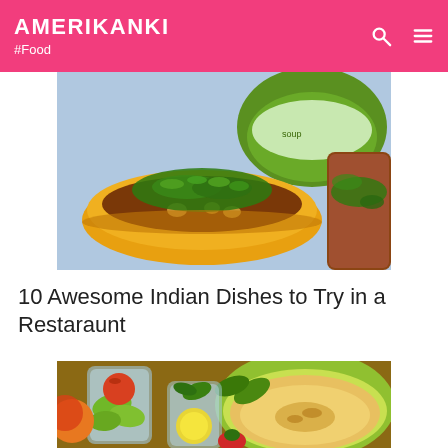AMERIKANKI #Food
[Figure (photo): A yellow bowl of Indian soup/dal garnished with green herbs and cilantro, with a green bowl of soup and grilled meat visible in background]
10 Awesome Indian Dishes to Try in a Restaraunt
[Figure (photo): A spread of fresh fruits and vegetables including melon, cucumber slices, apples, lemon and herbs in glasses]